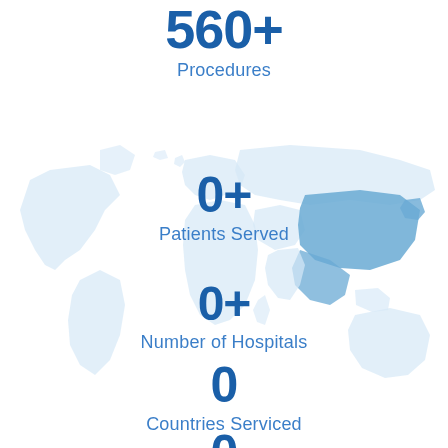[Figure (infographic): World map in light blue as background with highlighted region (Asia) in medium blue, overlaid with statistics about medical procedures, patients served, hospitals, and countries serviced.]
560+
Procedures
0+
Patients Served
0+
Number of Hospitals
0
Countries Serviced
0